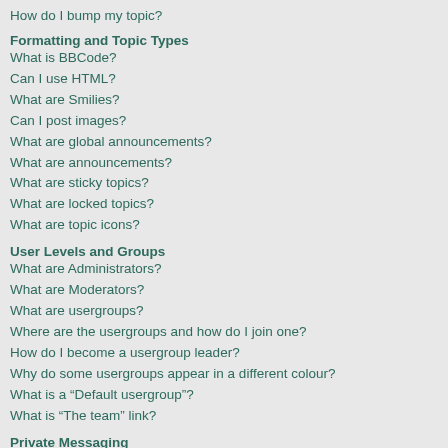How do I bump my topic?
Formatting and Topic Types
What is BBCode?
Can I use HTML?
What are Smilies?
Can I post images?
What are global announcements?
What are announcements?
What are sticky topics?
What are locked topics?
What are topic icons?
User Levels and Groups
What are Administrators?
What are Moderators?
What are usergroups?
Where are the usergroups and how do I join one?
How do I become a usergroup leader?
Why do some usergroups appear in a different colour?
What is a “Default usergroup”?
What is “The team” link?
Private Messaging
I cannot send private messages!
I keep getting unwanted private messages!
I have received a spamming or abusive email from someone on this board!